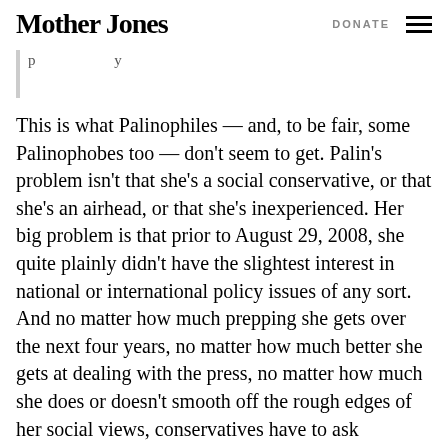Mother Jones | DONATE
This is what Palinophiles — and, to be fair, some Palinophobes too — don't seem to get. Palin's problem isn't that she's a social conservative, or that she's an airhead, or that she's inexperienced. Her big problem is that prior to August 29, 2008, she quite plainly didn't have the slightest interest in national or international policy issues of any sort. And no matter how much prepping she gets over the next four years, no matter how much better she gets at dealing with the press, no matter how much she does or doesn't smooth off the rough edges of her social views, conservatives have to ask themselves